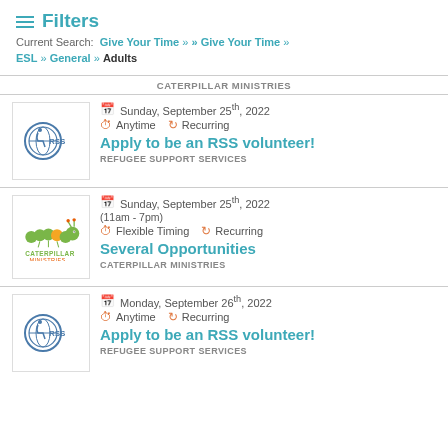Filters
Current Search: Give Your Time » » Give Your Time » ESL » General » Adults
CATERPILLAR MINISTRIES
[Figure (logo): RSS (Refugee Support Services) circular logo]
Sunday, September 25th, 2022
Anytime   Recurring
Apply to be an RSS volunteer!
REFUGEE SUPPORT SERVICES
[Figure (logo): Caterpillar Ministries logo with green caterpillar and text]
Sunday, September 25th, 2022
(11am - 7pm)
Flexible Timing   Recurring
Several Opportunities
CATERPILLAR MINISTRIES
[Figure (logo): RSS (Refugee Support Services) circular logo]
Monday, September 26th, 2022
Anytime   Recurring
Apply to be an RSS volunteer!
REFUGEE SUPPORT SERVICES